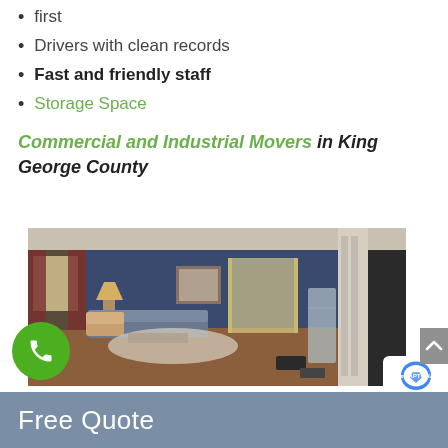first
Drivers with clean records
Fast and friendly staff
Storage Space
Commercial and Industrial Movers in King George County
[Figure (photo): Interior of a living room with blue walls, couches, a floral armchair, a rug, hardwood floors, framed artwork, and items wrapped in plastic during a move. White decorative columns visible on the right side.]
Free Quote